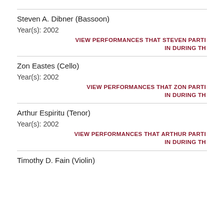Steven A. Dibner (Bassoon)
Year(s): 2002
VIEW PERFORMANCES THAT STEVEN PARTI IN DURING TH
Zon Eastes (Cello)
Year(s): 2002
VIEW PERFORMANCES THAT ZON PARTI IN DURING TH
Arthur Espiritu (Tenor)
Year(s): 2002
VIEW PERFORMANCES THAT ARTHUR PARTI IN DURING TH
Timothy D. Fain (Violin)